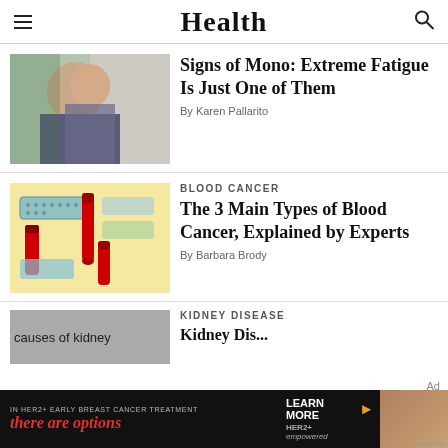Health
[Figure (photo): Young woman sitting on couch looking tired, holding head with hand, laptop in background]
Signs of Mono: Extreme Fatigue Is Just One of Them
By Karen Pallarito
BLOOD CANCER
[Figure (illustration): Blood test tubes and bandages on yellow background]
The 3 Main Types of Blood Cancer, Explained by Experts
By Barbara Brody
KIDNEY DISEASE
[Figure (photo): causes of kidney disease image placeholder]
Kidney Disease...
[Figure (other): Advertisement banner: IN HER2+ EARLY BREAST CANCER TREATMENT there are options / LEARN MORE > HER2+ empowered / Actor portrayal]